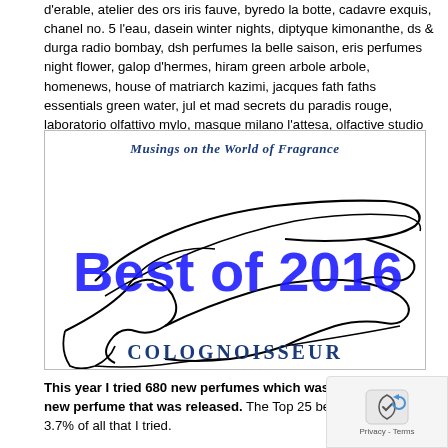d'erable, atelier des ors iris fauve, byredo la botte, cadavre exquis, chanel no. 5 l'eau, dasein winter nights, diptyque kimonanthe, ds & durga radio bombay, dsh perfumes la belle saison, eris perfumes night flower, galop d'hermes, hiram green arbole arbole, homenews, house of matriarch kazimi, jacques fath faths essentials green water, jul et mad secrets du paradis rouge, laboratorio olfattivo mylo, masque milano l'attesa, olfactive studio close up, puredistance sheiduna, the different company adjatay, thierry mugler angel muse, zoologist perfumes bat.
[Figure (illustration): Colognoisseur blog image with title 'Musings on the World of Fragrance', hand-drawn illustration of hands/fingers, blue bold text 'Best of 2016' overlaid, and 'COLOGNOISSEUR' text at the bottom.]
This year I tried 680 new perfumes which wasn't even half the new perfume that was released. The Top 25 below represents the top 3.7% of all that I tried.